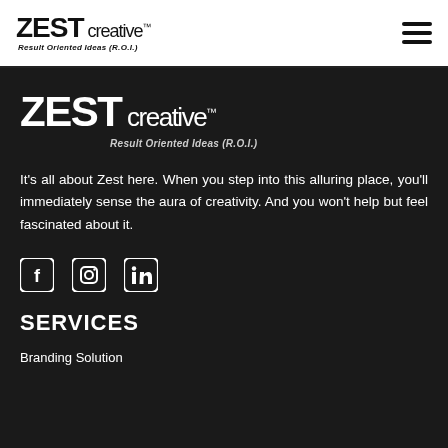ZEST creative™ Result Oriented Ideas (R.O.I.)
[Figure (logo): ZEST creative™ logo with tagline 'Result Oriented Ideas (R.O.I.)' in dark section]
It's all about Zest here. When you step into this alluring place, you'll immediately sense the aura of creativity. And you won't help but feel fascinated about it.
[Figure (infographic): Social media icons row: Facebook, Instagram, LinkedIn]
SERVICES
Branding Solution